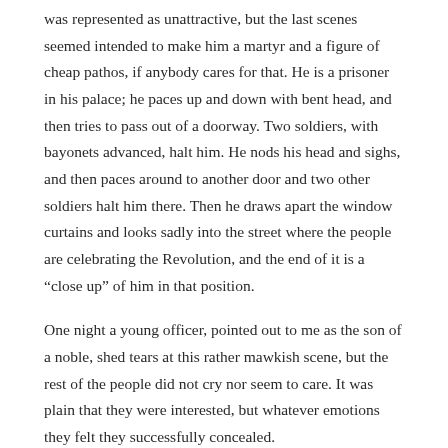was represented as unattractive, but the last scenes seemed intended to make him a martyr and a figure of cheap pathos, if anybody cares for that. He is a prisoner in his palace; he paces up and down with bent head, and then tries to pass out of a doorway. Two soldiers, with bayonets advanced, halt him. He nods his head and sighs, and then paces around to another door and two other soldiers halt him there. Then he draws apart the window curtains and looks sadly into the street where the people are celebrating the Revolution, and the end of it is a “close up” of him in that position.
One night a young officer, pointed out to me as the son of a noble, shed tears at this rather mawkish scene, but the rest of the people did not cry nor seem to care. It was plain that they were interested, but whatever emotions they felt they successfully concealed.
On another occasion I saw a film of a celebrated American comic hero of the movies whose impossible and galumphing antics have made millions and in this country and he did not care for or the Parisians. The